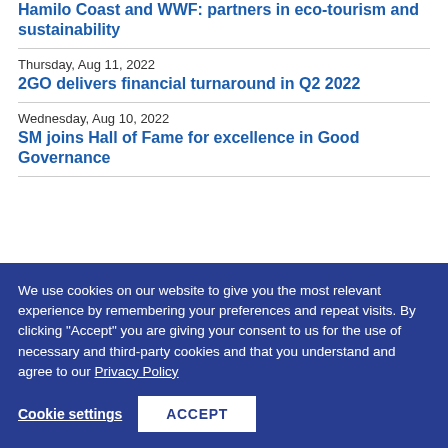Hamilo Coast and WWF: partners in eco-tourism and sustainability
Thursday, Aug 11, 2022
2GO delivers financial turnaround in Q2 2022
Wednesday, Aug 10, 2022
SM joins Hall of Fame for excellence in Good Governance
We use cookies on our website to give you the most relevant experience by remembering your preferences and repeat visits. By clicking "Accept" you are giving your consent to us for the use of necessary and third-party cookies and that you understand and agree to our Privacy Policy
Cookie settings
ACCEPT